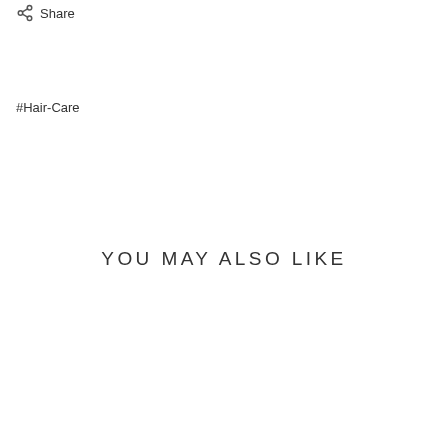Share
#Hair-Care
YOU MAY ALSO LIKE